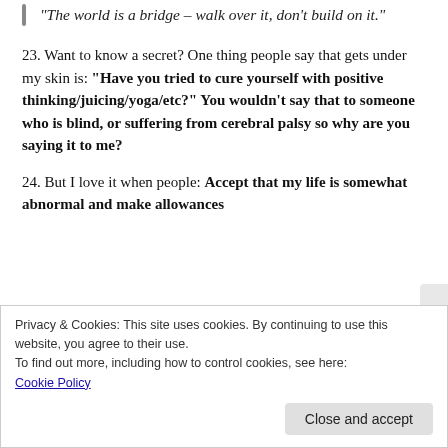“The world is a bridge – walk over it, don’t build on it.”
23. Want to know a secret? One thing people say that gets under my skin is: “Have you tried to cure yourself with positive thinking/juicing/yoga/etc?” You wouldn’t say that to someone who is blind, or suffering from cerebral palsy so why are you saying it to me?
24. But I love it when people: Accept that my life is somewhat abnormal and make allowances
Privacy & Cookies: This site uses cookies. By continuing to use this website, you agree to their use.
To find out more, including how to control cookies, see here: Cookie Policy